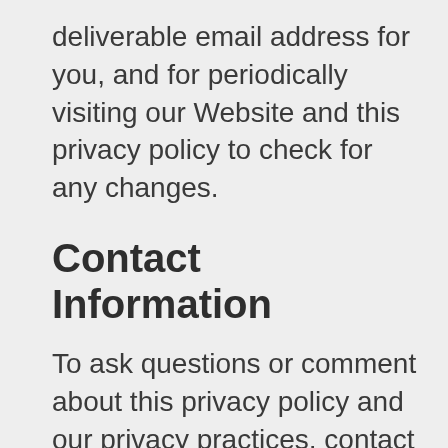deliverable email address for you, and for periodically visiting our Website and this privacy policy to check for any changes.
Contact Information
To ask questions or comment about this privacy policy and our privacy practices, contact us at: legal@rtvision.com.